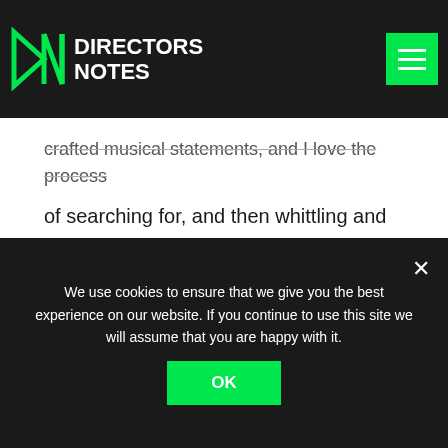DIRECTORS NOTES
crafted musical statements, and I love the process of searching for, and then whittling and refining to perfect, those simple but not simplistic, direct, elegant statements. I also feel that the consideration of timbre is such an important part of the scoring process, searching for unique sounds that create a unique sonic world for the film, and that kind of timbral quest is completely my musical wheelhouse.
We use cookies to ensure that we give you the best experience on our website. If you continue to use this site we will assume that you are happy with it.